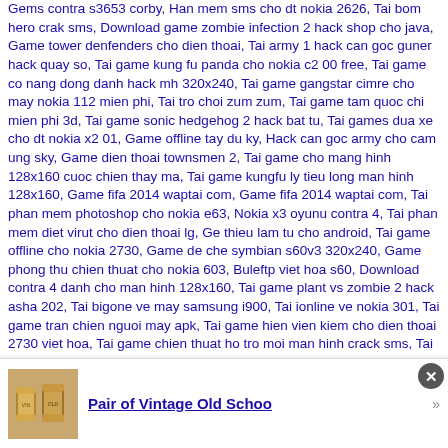Gems contra s3653 corby, Han mem sms cho dt nokia 2626, Tai bom hero crak sms, Download game zombie infection 2 hack shop cho java, Game tower denfenders cho dien thoai, Tai army 1 hack can goc guner hack quay so, Tai game kung fu panda cho nokia c2 00 free, Tai game co nang dong danh hack mh 320x240, Tai game gangstar cimre cho may nokia 112 mien phi, Tai tro choi zum zum, Tai game tam quoc chi mien phi 3d, Tai game sonic hedgehog 2 hack bat tu, Tai games dua xe cho dt nokia x2 01, Game offline tay du ky, Hack can goc army cho cam ung sky, Game dien thoai townsmen 2, Tai game cho mang hinh 128x160 cuoc chien thay ma, Tai game kungfu ly tieu long man hinh 128x160, Game fifa 2014 waptai com, Game fifa 2014 waptai com, Tai phan mem photoshop cho nokia e63, Nokia x3 oyunu contra 4, Tai phan mem diet virut cho dien thoai lg, Ge thieu lam tu cho android, Tai game offline cho nokia 2730, Game de che symbian s60v3 320x240, Game phong thu chien thuat cho nokia 603, Buleftp viet hoa s60, Download contra 4 danh cho man hinh 128x160, Tai game plant vs zombie 2 hack asha 202, Tai bigone ve may samsung i900, Tai ionline ve nokia 301, Tai game tran chien nguoi may apk, Tai game hien vien kiem cho dien thoai 2730 viet hoa, Tai game chien thuat ho tro moi man hinh crack sms, Tai game avatar 220 cho may x3 02, Phan mem giai nen minico, Game tower bloxx vh cho e63, Tai game kiem the online cho dien thoai lg, Tai game quan ly vuon thu animal tycoon mien phi cho java, Taj game vjce cjty vjet hoa man hjnh 220, Tai gam kim cuong cho s60 nokia 5233, Hack avatar, Game dua xe moto cho nokia 6303i, Worm 2 vh crack, Tai mien phi game vo lam 3 cho may samsung gt s3850, Game de che trung hoa 360x360 jad, Game bom c viet hoa hack, Tai game half life 2d viet hoa, Tai game worm tieng viet crack, Phan mem file excel crack, 480 360 game nok 303k mjen phj, ho c5 06, Tai phan men luot wen hack, Tai game boom berman cho man hinh 128x160
[Figure (other): Advertisement banner: thumbnail image of two vintage-style food/drink cans on brown background, with bold underlined blue text 'Pair of Vintage Old Schoo', a right-arrow symbol, and a dark circular close (X) button in the top-right corner.]